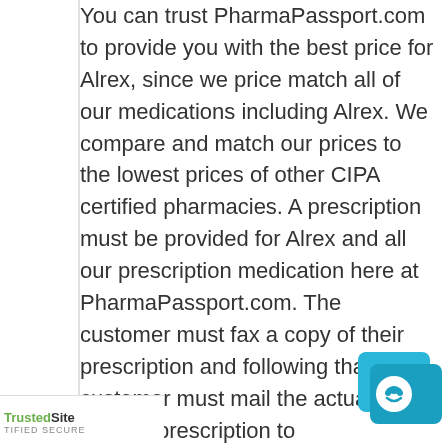You can trust PharmaPassport.com to provide you with the best price for Alrex, since we price match all of our medications including Alrex. We compare and match our prices to the lowest prices of other CIPA certified pharmacies. A prescription must be provided for Alrex and all our prescription medication here at PharmaPassport.com. The customer must fax a copy of their prescription and following that the customer must mail the actual original prescription to PharmaPassport.com.
The Alrex medication you purchase is manufactured by Bausch & Lomb. Loteprednol Etabonate is the generic alternative to Alrex.
TrustedSite TIFIED SECURE